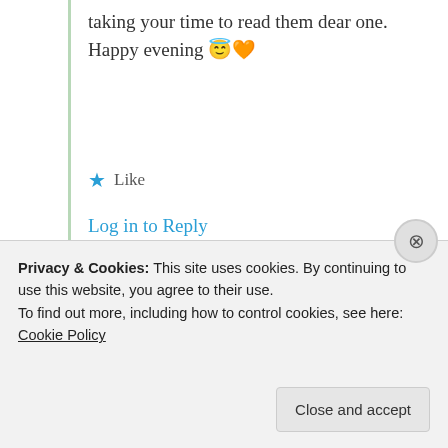taking your time to read them dear one. Happy evening 😇🧡
★ Like
Log in to Reply
Advertisements
[Figure (screenshot): Jetpack advertisement banner with green background, Jetpack logo on left and 'Back up your site' button on right]
Privacy & Cookies: This site uses cookies. By continuing to use this website, you agree to their use.
To find out more, including how to control cookies, see here: Cookie Policy
Close and accept
Lokesh Sastya